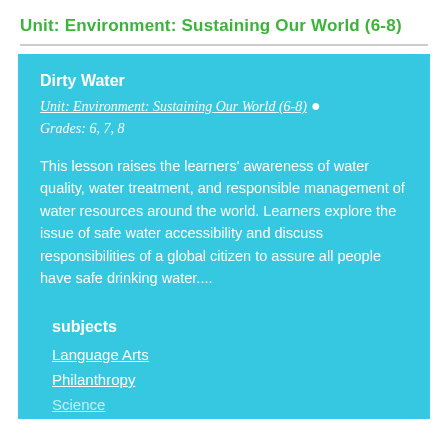Unit: Environment: Sustaining Our World (6-8)
Dirty Water
Unit: Environment: Sustaining Our World (6-8)  •  Grades: 6, 7, 8
This lesson raises the learners' awareness of water quality, water treatment, and responsible management of water resources around the world. Learners explore the issue of safe water accessibility and discuss responsibilities of a global citizen to assure all people have safe drinking water....
subjects
Language Arts
Philanthropy
Science